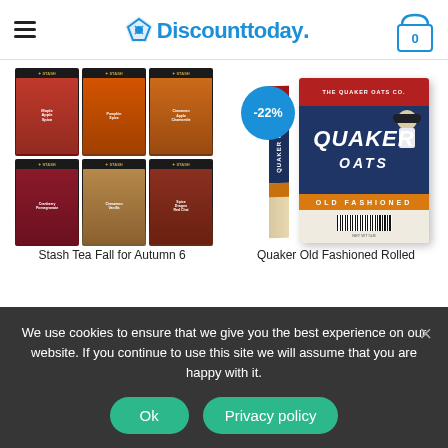Discounttoday. [navigation header with hamburger menu and cart showing 0]
[Figure (photo): Stash Tea Fall for Autumn 6-box variety pack product image showing six black tea boxes arranged in a 3x2 grid]
[Figure (photo): Quaker Old Fashioned Rolled Oats large box with -22% discount badge]
Stash Tea Fall for Autumn 6
Quaker Old Fashioned Rolled
We use cookies to ensure that we give you the best experience on our website. If you continue to use this site we will assume that you are happy with it.
Ok
Privacy policy